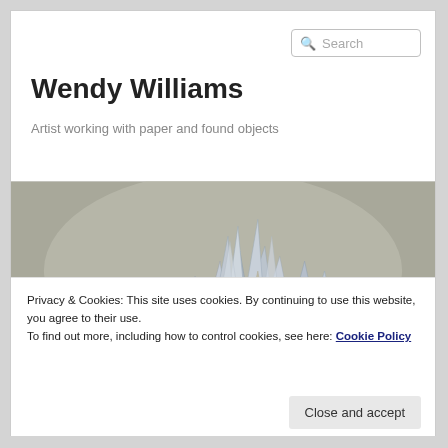Search
Wendy Williams
Artist working with paper and found objects
[Figure (photo): A sculptural artwork made from paper and found objects, resembling spiky plant forms, photographed against a neutral gray background.]
Privacy & Cookies: This site uses cookies. By continuing to use this website, you agree to their use.
To find out more, including how to control cookies, see here: Cookie Policy
Close and accept